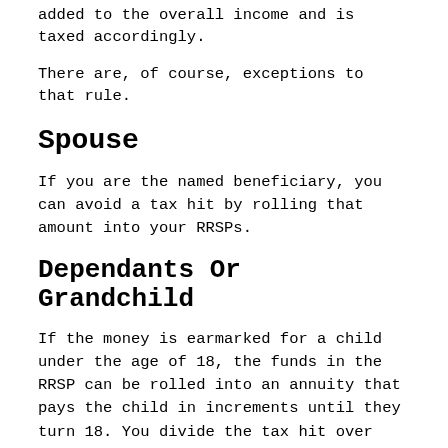added to the overall income and is taxed accordingly.
There are, of course, exceptions to that rule.
Spouse
If you are the named beneficiary, you can avoid a tax hit by rolling that amount into your RRSPs.
Dependants Or Grandchild
If the money is earmarked for a child under the age of 18, the funds in the RRSP can be rolled into an annuity that pays the child in increments until they turn 18. You divide the tax hit over the number of years remaining until the child turns 18.
Spousal RRSPs in